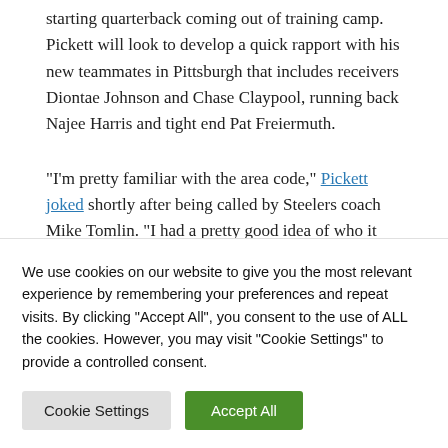starting quarterback coming out of training camp. Pickett will look to develop a quick rapport with his new teammates in Pittsburgh that includes receivers Diontae Johnson and Chase Claypool, running back Najee Harris and tight end Pat Freiermuth.
“I’m pretty familiar with the area code,” Pickett joked shortly after being called by Steelers coach Mike Tomlin. “I had a pretty good idea of who it was. I was speechless.”
Here are three quick facts about Pickett, who will look to follow in Marina’s footsteps as a former Panthers quarterback who enter...
We use cookies on our website to give you the most relevant experience by remembering your preferences and repeat visits. By clicking “Accept All”, you consent to the use of ALL the cookies. However, you may visit "Cookie Settings" to provide a controlled consent.